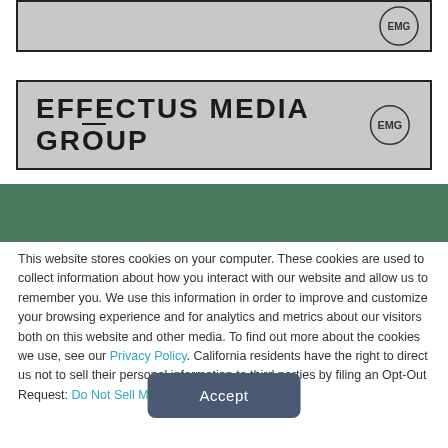[Figure (logo): Effectus Media Group top banner with EMG logo (partial, cropped at top)]
[Figure (logo): Effectus Media Group main banner with brand name and EMG circular logo]
This website stores cookies on your computer. These cookies are used to collect information about how you interact with our website and allow us to remember you. We use this information in order to improve and customize your browsing experience and for analytics and metrics about our visitors both on this website and other media. To find out more about the cookies we use, see our Privacy Policy. California residents have the right to direct us not to sell their personal information to third parties by filing an Opt-Out Request: Do Not Sell My Personal Info.
Accept